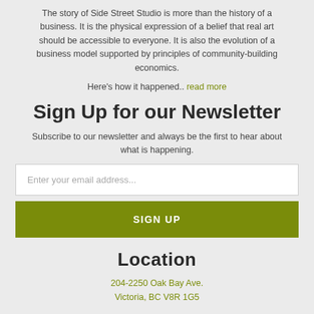The story of Side Street Studio is more than the history of a business. It is the physical expression of a belief that real art should be accessible to everyone. It is also the evolution of a business model supported by principles of community-building economics.
Here's how it happened.. read more
Sign Up for our Newsletter
Subscribe to our newsletter and always be the first to hear about what is happening.
Enter your email address...
SIGN UP
Location
204-2250 Oak Bay Ave.
Victoria, BC V8R 1G5